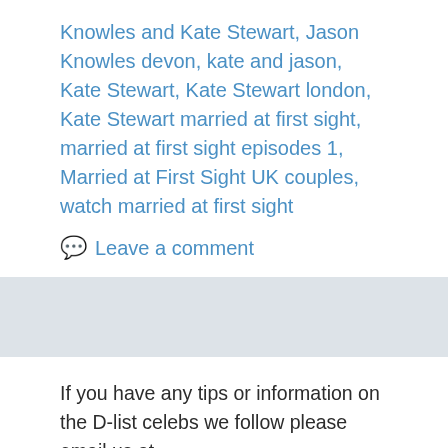Knowles and Kate Stewart, Jason Knowles devon, kate and jason, Kate Stewart, Kate Stewart london, Kate Stewart married at first sight, married at first sight episodes 1, Married at First Sight UK couples, watch married at first sight
Leave a comment
If you have any tips or information on the D-list celebs we follow please email us at okhereisthesituation@gmail.com . We will keep your name confidential.